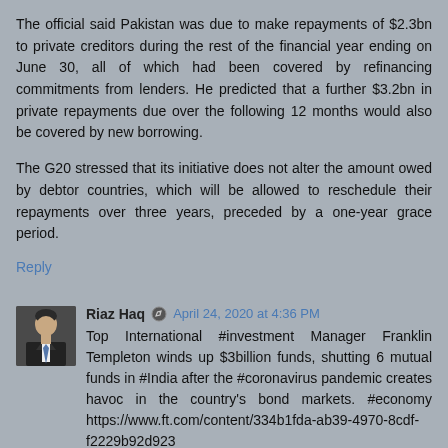The official said Pakistan was due to make repayments of $2.3bn to private creditors during the rest of the financial year ending on June 30, all of which had been covered by refinancing commitments from lenders. He predicted that a further $3.2bn in private repayments due over the following 12 months would also be covered by new borrowing.
The G20 stressed that its initiative does not alter the amount owed by debtor countries, which will be allowed to reschedule their repayments over three years, preceded by a one-year grace period.
Reply
Riaz Haq  April 24, 2020 at 4:36 PM
Top International #investment Manager Franklin Templeton winds up $3billion funds, shutting 6 mutual funds in #India after the #coronavirus pandemic creates havoc in the country's bond markets. #economy https://www.ft.com/content/334b1fda-ab39-4970-8cdf-f2229b92d923